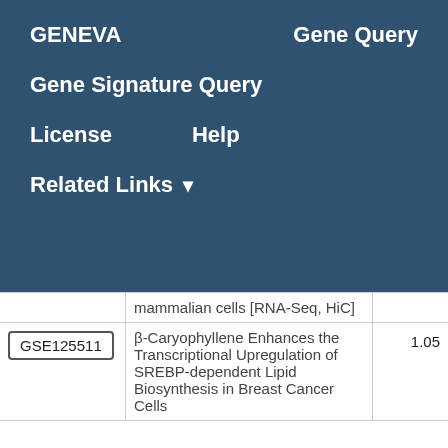GENEVA   Gene Query
Gene Signature Query
License   Help
Related Links ▾
|  | Description | Score |
| --- | --- | --- |
|  | mammalian cells [RNA-Seq, HiC] |  |
| GSE125511 | β-Caryophyllene Enhances the Transcriptional Upregulation of SREBP-dependent Lipid Biosynthesis in Breast Cancer Cells | 1.05 |